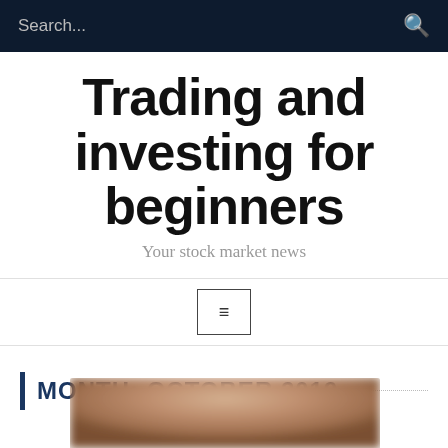Search...
Trading and investing for beginners
Your stock market news
[Figure (other): Menu/hamburger button icon inside a bordered square]
MONTH: OCTOBER 2019
[Figure (photo): Blurred close-up photo of a person's head, partially visible at the bottom of the page]